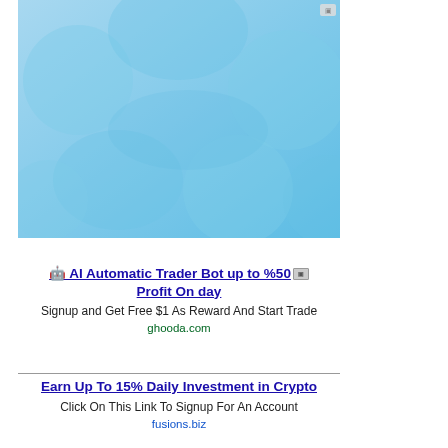[Figure (illustration): Light blue background with abstract rounded oval/circle shapes in slightly darker blue tones, forming a decorative pattern. Small ad indicator icon visible at top right corner.]
🤖 AI Automatic Trader Bot up to %50 Profit On day
Signup and Get Free $1 As Reward And Start Trade
ghooda.com
Earn Up To 15% Daily Investment in Crypto
Click On This Link To Signup For An Account
fusions.biz